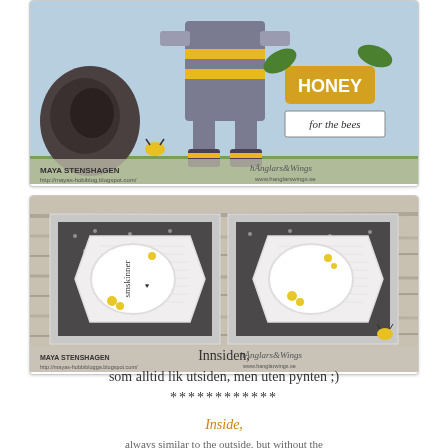[Figure (photo): Craft card showing a character with bee-themed decorations, boots, and a 'HONEY for the bees' banner with floral elements. Watermark: Maya Stenshagen / hanglars&wings.]
[Figure (photo): Craft card showing the inside of a card with two panels featuring white lace-effect chevron/banner shapes with oval frames, text 'smskinner', on a wood-grain background. Watermark: Maya Stenshagen / hanglars&wings.]
Innsiden,
som alltid lik utsiden, men uten pynten ;)
************
Inside,
always similar to the outside, but without the